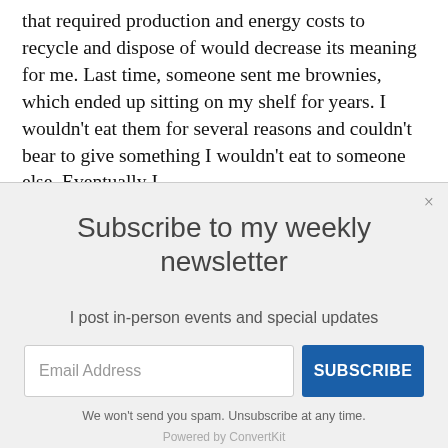that required production and energy costs to recycle and dispose of would decrease its meaning for me. Last time, someone sent me brownies, which ended up sitting on my shelf for years. I wouldn't eat them for several reasons and couldn't bear to give something I wouldn't eat to someone else. Eventually I
[Figure (screenshot): Newsletter subscription modal overlay with title 'Subscribe to my weekly newsletter', subtitle 'I post in-person events and special updates', an email address input field, a blue SUBSCRIBE button, spam disclaimer, and 'Powered by ConvertKit' text.]